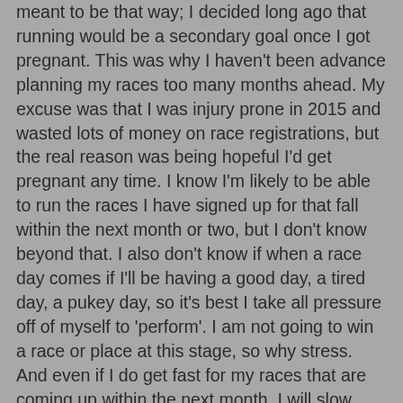meant to be that way; I decided long ago that running would be a secondary goal once I got pregnant. This was why I haven't been advance planning my races too many months ahead. My excuse was that I was injury prone in 2015 and wasted lots of money on race registrations, but the real reason was being hopeful I'd get pregnant any time. I know I'm likely to be able to run the races I have signed up for that fall within the next month or two, but I don't know beyond that. I also don't know if when a race day comes if I'll be having a good day, a tired day, a pukey day, so it's best I take all pressure off of myself to 'perform'. I am not going to win a race or place at this stage, so why stress. And even if I do get fast for my races that are coming up within the next month, I will slow down after that anyway. Might as well reframe my running now to be more about a way to stay active during my pregnancy, have fun, and continue to socialize in the running community.
I'm thinking my racing will be not so much "racing" but a lot of 5K events taken slower, and fun community runs I wouldn't normally do. I plan to do the other activities I reconnected with too like dance (for at least the 1st trimester,